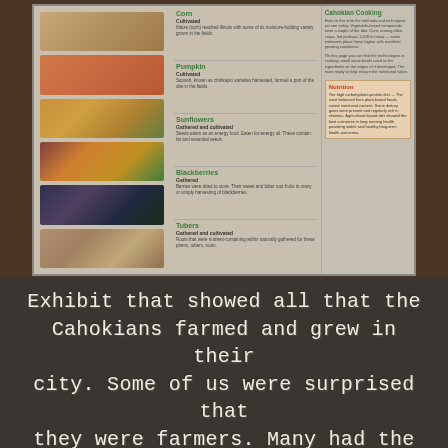[Figure (photo): A museum or educational exhibit panel showing crops and foods farmed by the Cahokians, including sections on Corn, Pumpkin, Sunflowers, Blackberries, and Tubers, with photographs of each plant/food on the left and descriptive text on the right. A side panel shows 'Cahokian Cooking' and 'Nutrition' sections.]
Exhibit that showed all that the Cahokians farmed and grew in their city. Some of us were surprised that they were farmers. Many had the mental model that Native Americans were only hunters who ate buffalo.